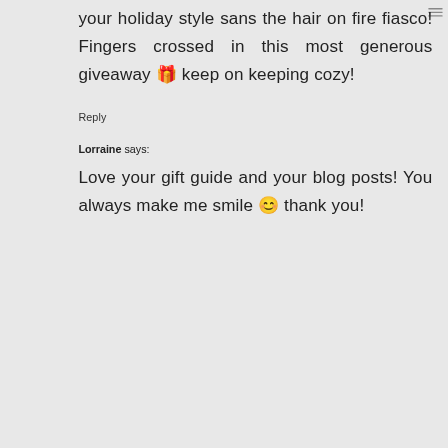your holiday style sans the hair on fire fiasco! Fingers crossed in this most generous giveaway 🎁 keep on keeping cozy!
Reply
Lorraine says:
Love your gift guide and your blog posts! You always make me smile 😊 thank you!